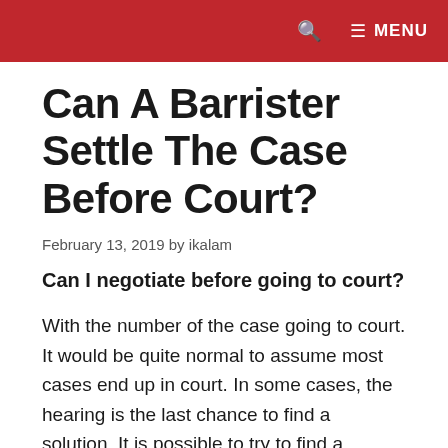🔍  ≡ MENU
Can A Barrister Settle The Case Before Court?
February 13, 2019 by ikalam
Can I negotiate before going to court?
With the number of the case going to court. It would be quite normal to assume most cases end up in court. In some cases, the hearing is the last chance to find a solution. It is possible to try to find a common ground. In family cases, this is referred to as meditation. The same is possible in claims. For example, you may have a dipsute with your landlord over rent rate or you have been taken to court for missed payment. There could be numerous reasons. Seeking